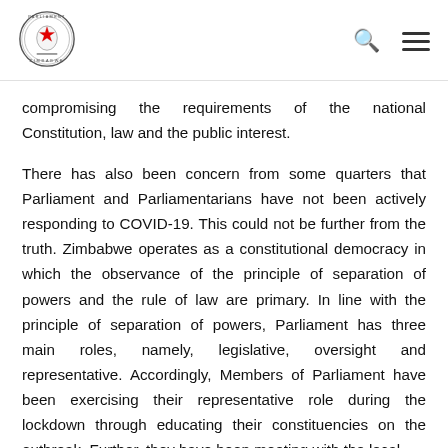Parliament of Zimbabwe logo, search icon, menu icon
compromising the requirements of the national Constitution, law and the public interest.
There has also been concern from some quarters that Parliament and Parliamentarians have not been actively responding to COVID-19. This could not be further from the truth. Zimbabwe operates as a constitutional democracy in which the observance of the principle of separation of powers and the rule of law are primary. In line with the principle of separation of powers, Parliament has three main roles, namely, legislative, oversight and representative. Accordingly, Members of Parliament have been exercising their representative role during the lockdown through educating their constituencies on the outbreak. Further, they have been meeting with the local